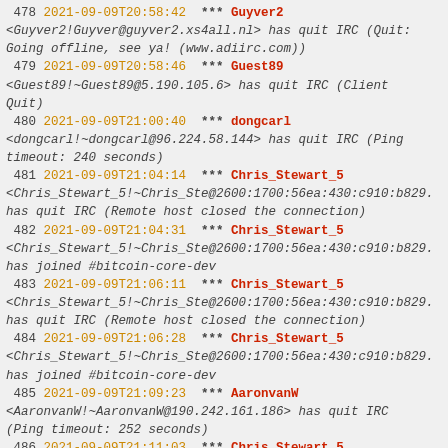478 2021-09-09T20:58:42 *** Guyver2
<Guyver2!Guyver@guyver2.xs4all.nl> has quit IRC (Quit: Going offline, see ya! (www.adiirc.com))
479 2021-09-09T20:58:46 *** Guest89
<Guest89!~Guest89@5.190.105.6> has quit IRC (Client Quit)
480 2021-09-09T21:00:40 *** dongcarl
<dongcarl!~dongcarl@96.224.58.144> has quit IRC (Ping timeout: 240 seconds)
481 2021-09-09T21:04:14 *** Chris_Stewart_5
<Chris_Stewart_5!~Chris_Ste@2600:1700:56ea:430:c910:b829. has quit IRC (Remote host closed the connection)
482 2021-09-09T21:04:31 *** Chris_Stewart_5
<Chris_Stewart_5!~Chris_Ste@2600:1700:56ea:430:c910:b829. has joined #bitcoin-core-dev
483 2021-09-09T21:06:11 *** Chris_Stewart_5
<Chris_Stewart_5!~Chris_Ste@2600:1700:56ea:430:c910:b829. has quit IRC (Remote host closed the connection)
484 2021-09-09T21:06:28 *** Chris_Stewart_5
<Chris_Stewart_5!~Chris_Ste@2600:1700:56ea:430:c910:b829. has joined #bitcoin-core-dev
485 2021-09-09T21:09:23 *** AaronvanW
<AaronvanW!~AaronvanW@190.242.161.186> has quit IRC (Ping timeout: 252 seconds)
486 2021-09-09T21:11:03 *** Chris_Stewart_5
<Chris_Stewart_5!~Chris_Ste@2600:1700:56ea:430:c910:b829. has quit IRC (Remote host closed the connection)
487 2021-09-09T21:11:03 *** Chris_Stewart_5